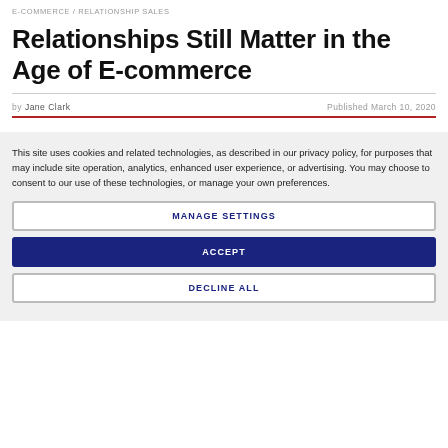CUSTOMER RELATIONSHIP MANAGEMENT / E-COMMERCE / RELATIONSHIP SALES
Relationships Still Matter in the Age of E-commerce
by Jane Clark   Published March 10, 2020
This site uses cookies and related technologies, as described in our privacy policy, for purposes that may include site operation, analytics, enhanced user experience, or advertising. You may choose to consent to our use of these technologies, or manage your own preferences.
MANAGE SETTINGS
ACCEPT
DECLINE ALL